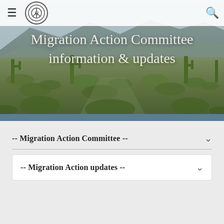[Figure (photo): Desert landscape with saguaro cacti, shrubs, and mountains in the background under a hazy sky — Sonoran Desert scene used as hero banner image.]
Migration Action Committee information & updates
-- Migration Action Committee --
-- Migration Action updates --